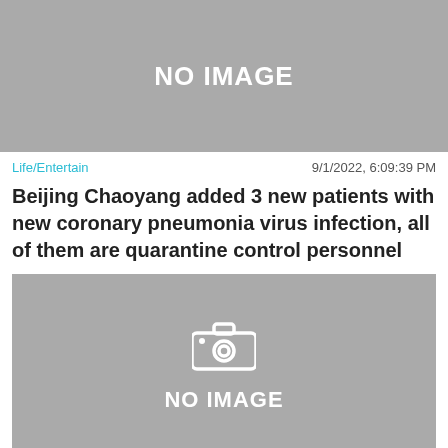[Figure (photo): Gray placeholder banner with NO IMAGE text]
Life/Entertain   9/1/2022, 6:09:39 PM
Beijing Chaoyang added 3 new patients with new coronary pneumonia virus infection, all of them are quarantine control personnel
[Figure (photo): Gray placeholder with camera icon and NO IMAGE text]
Life/Entertain   9/1/2022, 6:09:34 PM